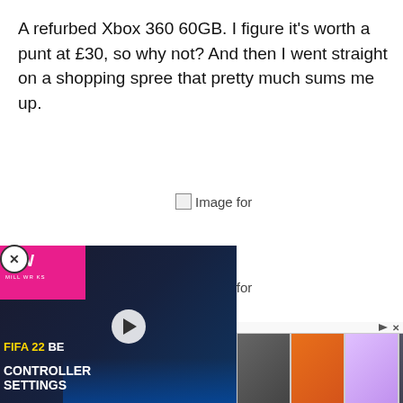A refurbed Xbox 360 60GB. I figure it's worth a punt at £30, so why not? And then I went straight on a shopping spree that pretty much sums me up.
[Figure (photo): Broken image placeholder labeled 'Image for']
[Figure (photo): Broken image placeholder labeled 'Image for']
[Figure (photo): Broken image placeholder labeled 'Image for' (partially obscured by ad overlay)]
[Figure (screenshot): Video advertisement overlay: MW (MilliWorks) FIFA 22 Best Controller Settings video ad with a football player in white Real Madrid kit, pink branding bar, play button. Below are thumbnail strips of game ads. Close button (X in circle) top-left of ad.]